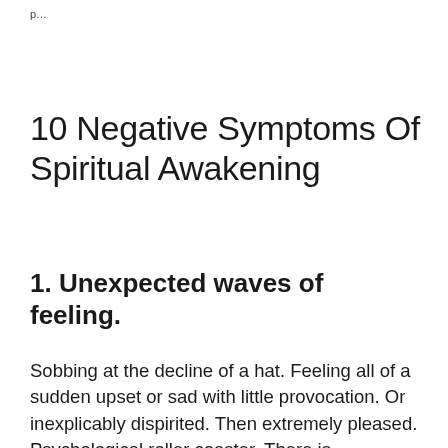p...
10 Negative Symptoms Of Spiritual Awakening
1. Unexpected waves of feeling.
Sobbing at the decline of a hat. Feeling all of a sudden upset or sad with little provocation. Or inexplicably dispirited. Then extremely pleased. Psychological roller coaster. There is